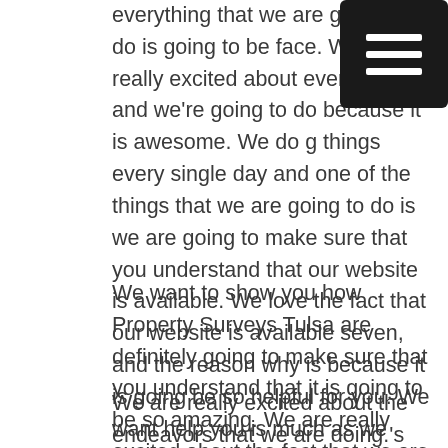[Figure (other): Black rounded rectangle hamburger menu icon with three white horizontal lines]
everything that we are going to do is going to be face. We are really excited about everything and we're going to do because it is awesome. We do g things every single day and one of the things that we are going to do is we are going to make sure that you understand that our website is available. We love the fact that our website is available seven, and the reason why is because it is going be so helpful for you. We want help you is much as we possibly can.
We want to show you how Property Surveys Tulsa are definitely going to make sure that you understand that it is going to be so amazing. We are really excited about the fact that we are going to do such a great deal. Wanna make sure that you understand that this is going to be a good deal for you.
We are really excited about the endeavors that we are doing.'s we love the fact that we are endeavoring to make your life better and it is going be so great.